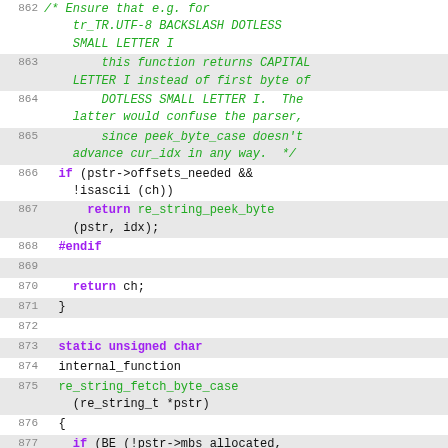[Figure (screenshot): Source code listing lines 862–880 of a C file showing re_string functions with syntax highlighting. Comments in green italic, keywords (static, unsigned, char, if, return, #endif, #ifdef) in purple bold, function names and identifiers in black monospace. Alternating light gray row backgrounds.]